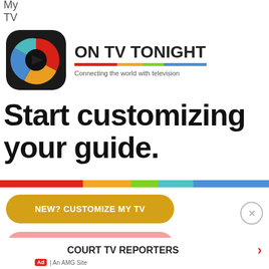My TV
[Figure (logo): On TV Tonight app logo — rounded square icon with colorful swirl on dark background, beside brand name ON TV TONIGHT with colorful bar and tagline Connecting the world with television]
Start customizing your guide.
NEW? CUSTOMIZE MY TV
RETURN
COURT TV REPORTERS
Ad | An AMG Site